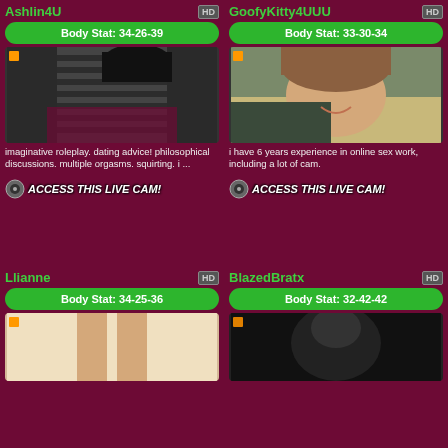Ashlin4U
Body Stat: 34-26-39
[Figure (photo): Person in black and white striped top]
imaginative roleplay. dating advice! philosophical discussions. multiple orgasms. squirting. i ...
[Figure (other): ACCESS THIS LIVE CAM! button with camera icon]
GoofyKitty4UUU
Body Stat: 33-30-34
[Figure (photo): Person lying down smiling on pillow]
i have 6 years experience in online sex work, including a lot of cam.
[Figure (other): ACCESS THIS LIVE CAM! button with camera icon]
Llianne
Body Stat: 34-25-36
[Figure (photo): Partial view of legs on white background]
BlazedBratx
Body Stat: 32-42-42
[Figure (photo): Dark figure in dark room]